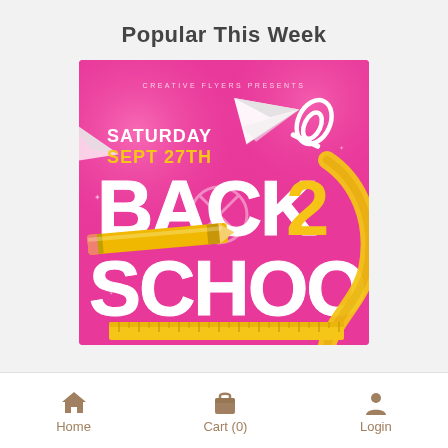Popular This Week
[Figure (illustration): Back to School event flyer on pink background. Text reads: CREATIVE FLYERS PRESENTS, SATURDAY SEPT 27TH, BACK 2 SCHOOL. Features paper airplane, pencil, paperclip, and ruler decorations in yellow and white.]
Home  Cart (0)  Login